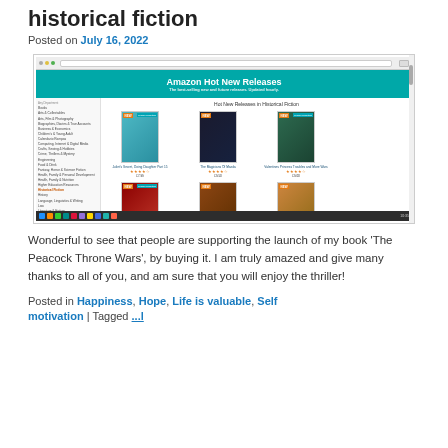historical fiction
Posted on July 16, 2022
[Figure (screenshot): Screenshot of Amazon Hot New Releases in Historical Fiction page showing book covers in a grid layout with sidebar navigation]
Wonderful to see that people are supporting the launch of my book ‘The Peacock Throne Wars’, by buying it. I am truly amazed and give many thanks to all of you, and am sure that you will enjoy the thriller!
Posted in Happiness, Hope, Life is valuable, Self motivation | Tagged ...